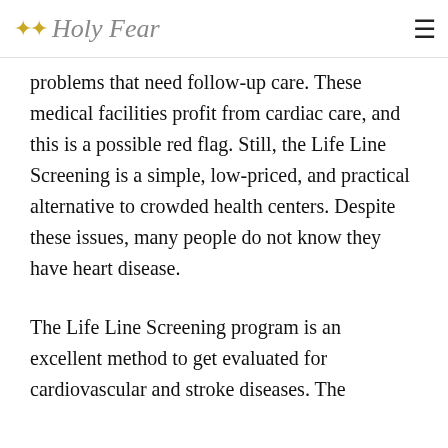✦✦ Holy Fear  ☰
problems that need follow-up care. These medical facilities profit from cardiac care, and this is a possible red flag. Still, the Life Line Screening is a simple, low-priced, and practical alternative to crowded health centers. Despite these issues, many people do not know they have heart disease.
The Life Line Screening program is an excellent method to get evaluated for cardiovascular and stroke diseases. The